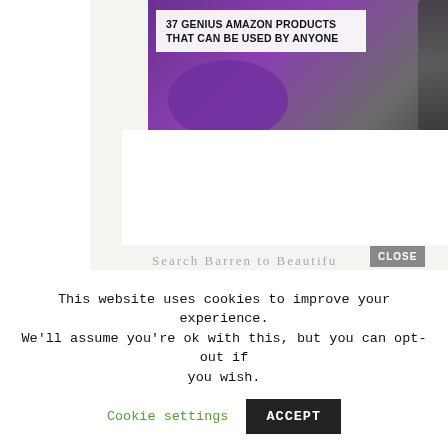[Figure (screenshot): Thumbnail image with text overlay reading '37 GENIUS AMAZON PRODUCTS THAT CAN BE USED BY ANYONE' on a purple background with a phone visible]
0
SHARES
[Figure (screenshot): Facebook share button (blue with f icon)]
Search Barren to Beautiful
[Figure (screenshot): MAC cosmetics advertisement banner showing lipsticks with SHOP NOW button]
Search this website
This website uses cookies to improve your experience. We'll assume you're ok with this, but you can opt-out if you wish.
Cookie settings
ACCEPT